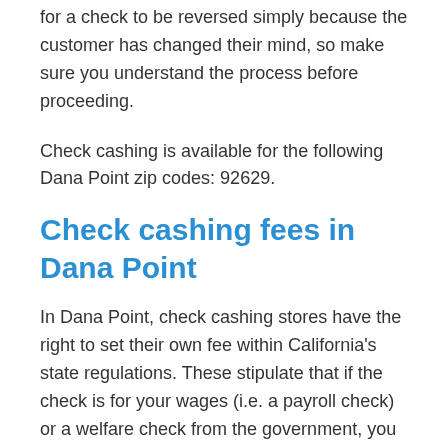for a check to be reversed simply because the customer has changed their mind, so make sure you understand the process before proceeding.
Check cashing is available for the following Dana Point zip codes: 92629.
Check cashing fees in Dana Point
In Dana Point, check cashing stores have the right to set their own fee within California's state regulations. These stipulate that if the check is for your wages (i.e. a payroll check) or a welfare check from the government, you cannot be given a fee higher than $3 or 3%, depending